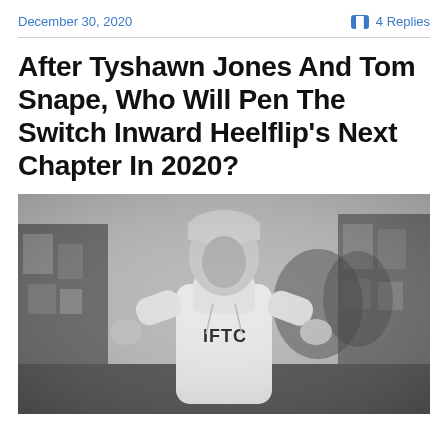December 30, 2020    💬 4 Replies
After Tyshawn Jones And Tom Snape, Who Will Pen The Switch Inward Heelflip's Next Chapter In 2020?
[Figure (photo): Black and white photo of a man wearing a white IFTC hoodie and beanie hat, standing on an urban street, gesturing with his hands in a city setting with buildings and trees in the background.]